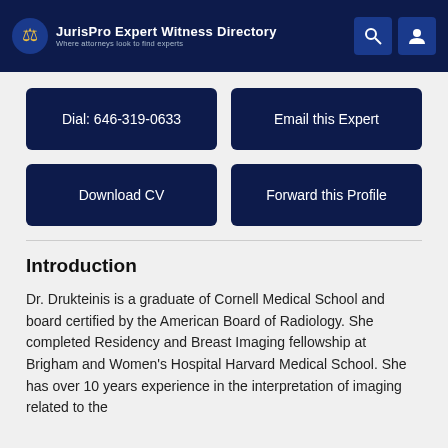JurisPro Expert Witness Directory — Where attorneys look to find experts
Dial: 646-319-0633
Email this Expert
Download CV
Forward this Profile
Introduction
Dr. Drukteinis is a graduate of Cornell Medical School and board certified by the American Board of Radiology. She completed Residency and Breast Imaging fellowship at Brigham and Women's Hospital Harvard Medical School. She has over 10 years experience in the interpretation of imaging related to the